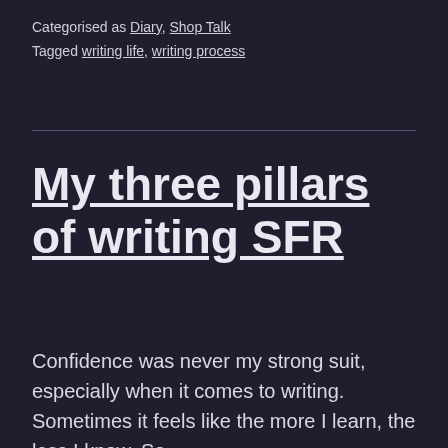Categorised as Diary, Shop Talk
Tagged writing life, writing process
My three pillars of writing SFR
Confidence was never my strong suit, especially when it comes to writing. Sometimes it feels like the more I learn, the less I know. So